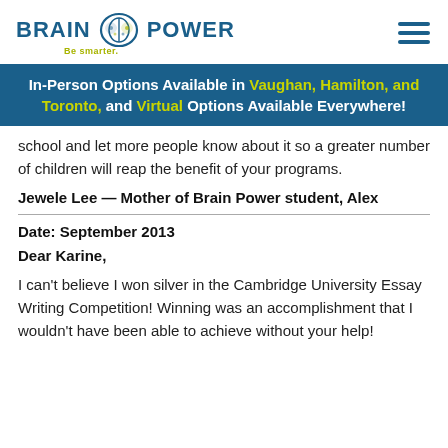[Figure (logo): Brain Power logo with brain icon and tagline 'Be smarter.']
In-Person Options Available in Vaughan, Hamilton, and Toronto, and Virtual Options Available Everywhere!
school and let more people know about it so a greater number of children will reap the benefit of your programs.
Jewele Lee — Mother of Brain Power student, Alex
Date: September 2013
Dear Karine,
I can't believe I won silver in the Cambridge University Essay Writing Competition! Winning was an accomplishment that I wouldn't have been able to achieve without your help!